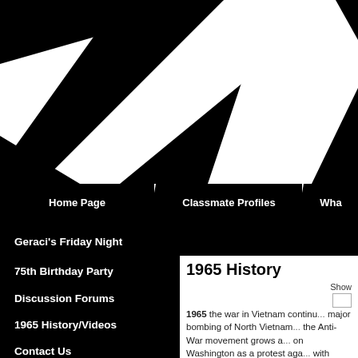[Figure (illustration): Black and white diagonal stripe banner/header graphic]
Home Page | Classmate Profiles | Wha...
Geraci's Friday Night
75th Birthday Party
Discussion Forums
1965 History/Videos
Contact Us
1965 History
Show
1965 the war in Vietnam continu... major bombing of North Vietnam... the Anti-War movement grows a... on Washington as a protest aga... with rioting, looting and arson in... year mandated health warnings... smoking became a no no. The B... Ball and The Skate Board. Fash... got shorter men's hair grew long...